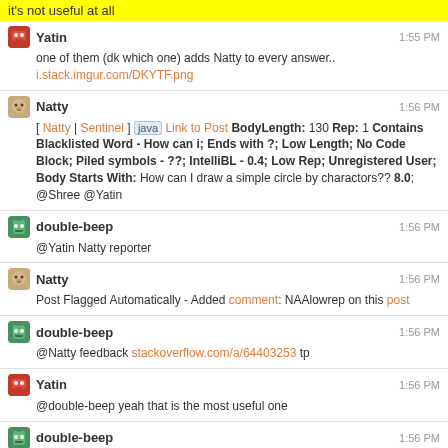it's not useful at all
Yatin 1:55 PM
one of them (dk which one) adds Natty to every answer.. i.stack.imgur.com/DKYTF.png
Natty 1:56 PM
[ Natty | Sentinel ] java Link to Post BodyLength: 130 Rep: 1 Contains Blacklisted Word - How can i; Ends with ?; Low Length; No Code Block; Piled symbols - ??; IntelliBL - 0.4; Low Rep; Unregistered User; Body Starts With: How can I draw a simple circle by charactors?? 8.0; @Shree @Yatin
double-beep 1:56 PM
@Yatin Natty reporter
Natty 1:56 PM
Post Flagged Automatically - Added comment: NAAlowrep on this post
double-beep 1:56 PM
@Natty feedback stackoverflow.com/a/64403253 tp
Yatin 1:56 PM
@double-beep yeah that is the most useful one
double-beep 1:56 PM
meh, the most useful is AdvancedFlagging
Yatin 1:56 PM
@Natty feedback stackoverflow.com/a/64403253 tp